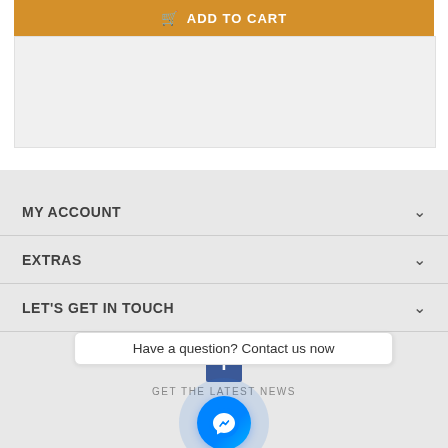[Figure (screenshot): Add to Cart button (orange/gold colored) at the top of the page]
MY ACCOUNT
EXTRAS
LET'S GET IN TOUCH
Have a question? Contact us now
GET THE LATEST NEWS
Enter e-mail address